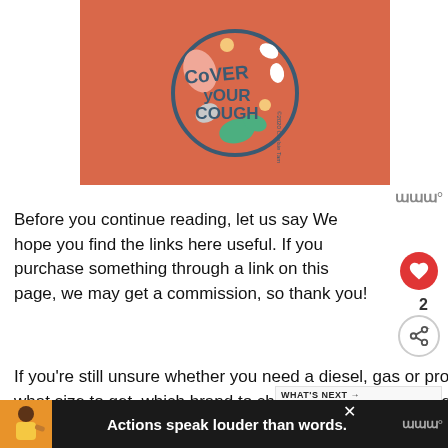[Figure (illustration): Cover Your Cough circular badge/logo on an orange background with colorful leaf/blob shapes and text 'COVER YOUR COUGH' in dark teal letters. Copyright 2020 Chelsie Tamms.]
Before you continue reading, let us say We hope you find the links here useful. If you purchase something through a link on this page, we may get a commission, so thank you!
If you're still unsure whether you need a diesel, gas or propane generator, what size to get, which brand to choose, take a look at these guides too.
[Figure (infographic): What's Next widget showing '6 of the best generator...' with a small image of a blue generator]
[Figure (infographic): Bottom advertisement banner with text 'Actions speak louder than words.' on dark background with illustration of a person]